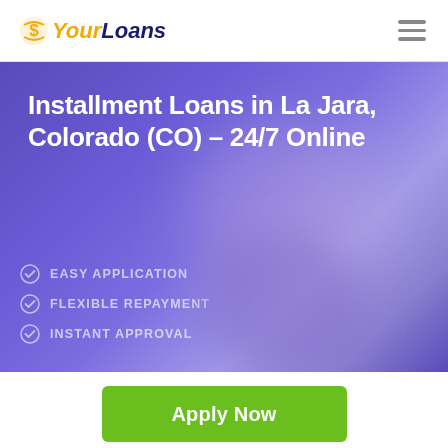[Figure (logo): YourLoans logo with icon, 'Your' in gold italic and 'Loans' in dark navy italic]
Installment Loans in La Jara, Colorado (CO) – 24/7 Online
EASY APPLICATION
FLEXIBLE REPAYMENT
INSTANT APPROVAL
Apply Now
Applying does NOT affect your credit score!
No credit check to apply.